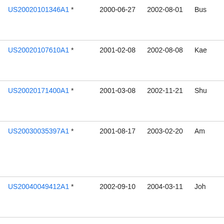| Patent | Filed | Published | Inventor |
| --- | --- | --- | --- |
| US20020101346A1 * | 2000-06-27 | 2002-08-01 | Bus… |
| US20020107610A1 * | 2001-02-08 | 2002-08-08 | Kae… |
| US20020171400A1 * | 2001-03-08 | 2002-11-21 | Shu… |
| US20030035397A1 * | 2001-08-17 | 2003-02-20 | Am… |
| US20040049412A1 * | 2002-09-10 | 2004-03-11 | Joh… |
| US20040083380A1 * | 2001-02-16 | 2004-04-29 | Ma… |
| US20040195311A1 * | 2003-04-07 | 2004-10-07 | Kia… |